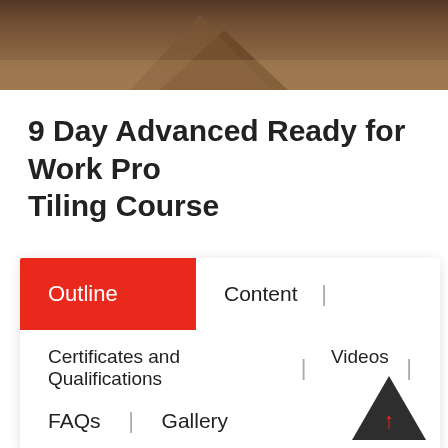[Figure (photo): Hero image showing tiling/flooring materials in brown tones]
9 Day Advanced Ready for Work Pro Tiling Course
Outline | Content | Certificates and Qualifications | Videos | FAQs | Gallery